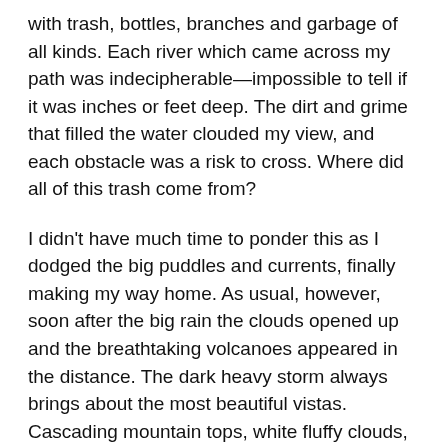with trash, bottles, branches and garbage of all kinds. Each river which came across my path was indecipherable—impossible to tell if it was inches or feet deep. The dirt and grime that filled the water clouded my view, and each obstacle was a risk to cross. Where did all of this trash come from?
I didn't have much time to ponder this as I dodged the big puddles and currents, finally making my way home. As usual, however, soon after the big rain the clouds opened up and the breathtaking volcanoes appeared in the distance. The dark heavy storm always brings about the most beautiful vistas. Cascading mountain tops, white fluffy clouds, and a bright blue sky. It was a thrill to look at. I pondered back to the gushing garbage and seeping mud I had fought against just hours before. The trash, gunk and rubbish had always been there. However, it took the giant rainstorm to come and wash it out, cleaning through the streets and wiping them clean. It wasn't fun, it wasn't